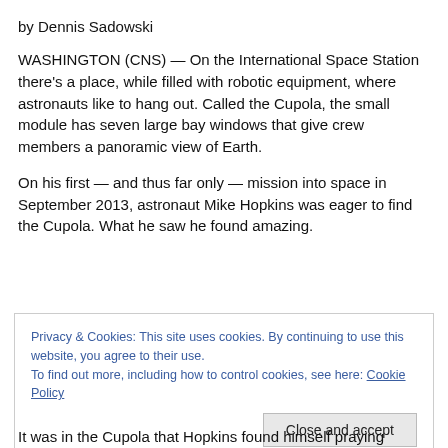by Dennis Sadowski
WASHINGTON (CNS) — On the International Space Station there's a place, while filled with robotic equipment, where astronauts like to hang out. Called the Cupola, the small module has seven large bay windows that give crew members a panoramic view of Earth.
On his first — and thus far only — mission into space in September 2013, astronaut Mike Hopkins was eager to find the Cupola. What he saw he found amazing.
Privacy & Cookies: This site uses cookies. By continuing to use this website, you agree to their use.
To find out more, including how to control cookies, see here: Cookie Policy
It was in the Cupola that Hopkins found himself praying